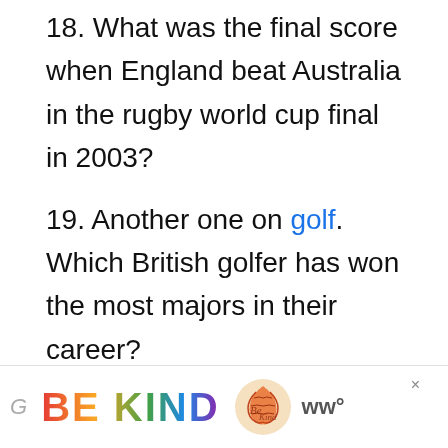18. What was the final score when England beat Australia in the rugby world cup final in 2003?
19. Another one on golf. Which British golfer has won the most majors in their career?
20. In what year were the
[Figure (other): Advertisement banner at bottom of page reading 'BE KIND' in colorful gradient text with a decorative floral logo and WW logo]